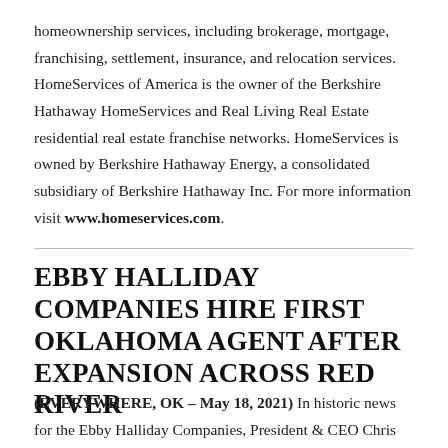homeownership services, including brokerage, mortgage, franchising, settlement, insurance, and relocation services. HomeServices of America is the owner of the Berkshire Hathaway HomeServices and Real Living Real Estate residential real estate franchise networks. HomeServices is owned by Berkshire Hathaway Energy, a consolidated subsidiary of Berkshire Hathaway Inc. For more information visit www.homeservices.com.
EBBY HALLIDAY COMPANIES HIRE FIRST OKLAHOMA AGENT AFTER EXPANSION ACROSS RED RIVER
(EVERYWHERE, OK – May 18, 2021) In historic news for the Ebby Halliday Companies, President & CEO Chris Kelly announced that the first agent has been hired for the first Ebby